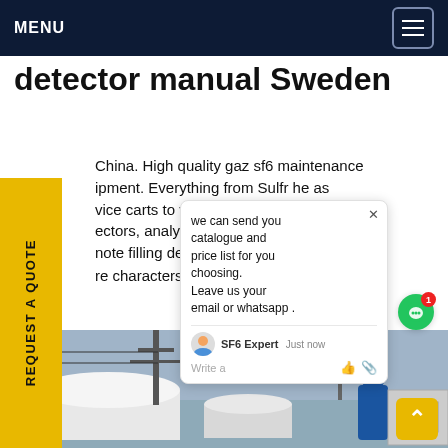MENU
detector manual Sweden
China. High quality gaz sf6 maintenance equipment. Everything from Sulfr he as vice carts to valves and coupling eak ectors, analyzers, monitoring equ d note filling devices. Rules Only wo re characters are accepted
[Figure (photo): Industrial SF6 gas equipment with white cylindrical tanks, power line towers in background, and a worker in blue overalls]
[Figure (screenshot): Chat popup overlay: 'we can send you catalogue and price list for you choosing. Leave us your email or whatsapp .' with SF6 Expert avatar and just now timestamp]